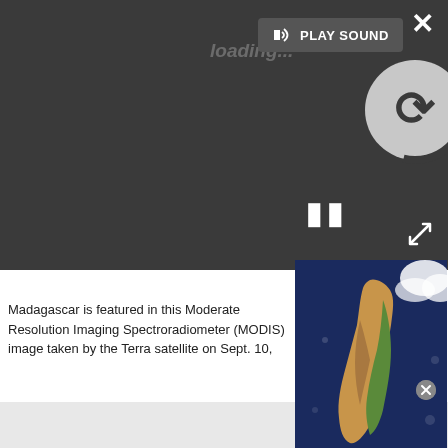[Figure (screenshot): Media player overlay in dark gray showing PLAY SOUND button with speaker icon, a spinning loading circle, pause bars, and a close X button in upper right.]
[Figure (photo): Satellite image of Madagascar taken by the Terra satellite MODIS instrument on Sept. 10, showing the island from space surrounded by dark ocean with some cloud cover in the upper right.]
Madagascar is featured in this Moderate Resolution Imaging Spectroradiometer (MODIS) image taken by the Terra satellite on Sept. 10,